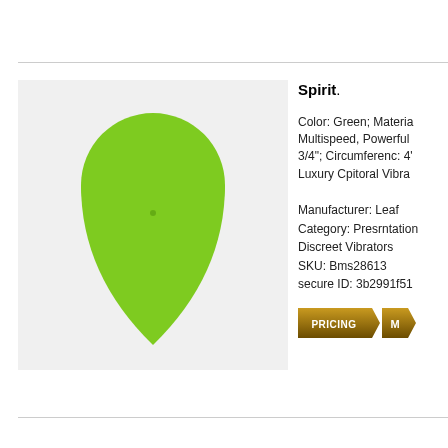[Figure (photo): Green teardrop/cone-shaped vibrator product on light gray background]
Spirit.
Color: Green; Material: Multispeed, Powerful 3/4"; Circumferenc: 4" Luxury Cpitoral Vibra...
Manufacturer: Leaf Category: Presrntation Discreet Vibrators SKU: Bms28613 secure ID: 3b2991f51...
[Figure (other): PRICING button and M button in dark gold arrow-shaped banner buttons]